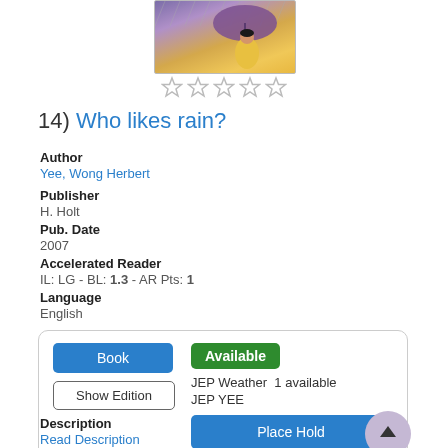[Figure (illustration): Book cover illustration showing a child in yellow raincoat with umbrella in rain]
[Figure (other): Five empty star rating icons]
14) Who likes rain?
Author
Yee, Wong Herbert
Publisher
H. Holt
Pub. Date
2007
Accelerated Reader
IL: LG - BL: 1.3 - AR Pts: 1
Language
English
Book
Show Edition
Available
JEP Weather  1 available
JEP YEE
Place Hold
Description
Read Description